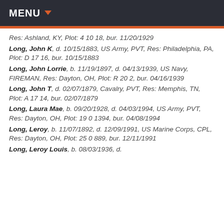MENU
Res: Ashland, KY, Plot: 4 10 18, bur. 11/20/1929
Long, John K, d. 10/15/1883, US Army, PVT, Res: Philadelphia, PA, Plot: D 17 16, bur. 10/15/1883
Long, John Lorrie, b. 11/19/1897, d. 04/13/1939, US Navy, FIREMAN, Res: Dayton, OH, Plot: R 20 2, bur. 04/16/1939
Long, John T, d. 02/07/1879, Cavalry, PVT, Res: Memphis, TN, Plot: A 17 14, bur. 02/07/1879
Long, Laura Mae, b. 09/20/1928, d. 04/03/1994, US Army, PVT, Res: Dayton, OH, Plot: 19 0 1394, bur. 04/08/1994
Long, Leroy, b. 11/07/1892, d. 12/09/1991, US Marine Corps, CPL, Res: Dayton, OH, Plot: 25 0 889, bur. 12/11/1991
Long, Leroy Louis, b. 08/03/1936, d.